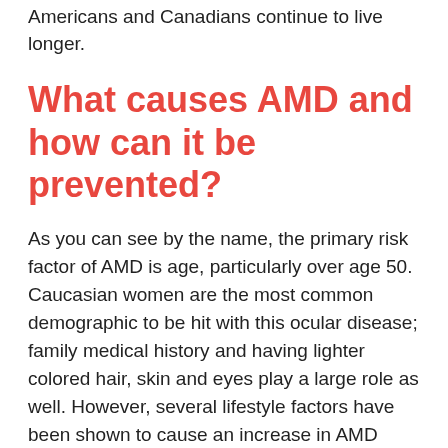Americans and Canadians continue to live longer.
What causes AMD and how can it be prevented?
As you can see by the name, the primary risk factor of AMD is age, particularly over age 50. Caucasian women are the most common demographic to be hit with this ocular disease; family medical history and having lighter colored hair, skin and eyes play a large role as well. However, several lifestyle factors have been shown to cause an increase in AMD development; so there may be ways to reduce your risk, even if you have a genetic predisposition.
In fact, most of the controllable risk factors pose general health risks that cause a plethora of health issues, so addressing them will boost your overall health and wellness, in addition to protecting your eyes and vision